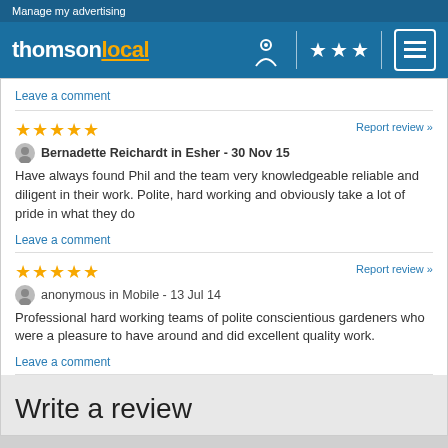Manage my advertising
[Figure (logo): Thomson Local logo with navigation icons]
Leave a comment
★★★★★ Bernadette Reichardt in Esher - 30 Nov 15
Have always found Phil and the team very knowledgeable reliable and diligent in their work. Polite, hard working and obviously take a lot of pride in what they do
Leave a comment
★★★★★ anonymous in Mobile - 13 Jul 14
Professional hard working teams of polite conscientious gardeners who were a pleasure to have around and did excellent quality work.
Leave a comment
Write a review